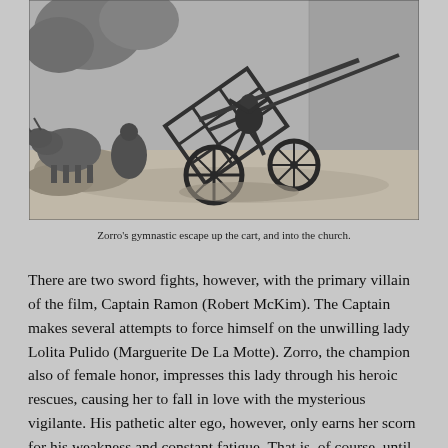[Figure (photo): Black and white photograph showing a tipped-over cart in a village setting, with an animal (possibly a bull or ox) visible on the left, and a building wall on the right. The scene appears to depict Zorro's gymnastic escape up the cart and into the church.]
Zorro's gymnastic escape up the cart, and into the church.
There are two sword fights, however, with the primary villain of the film, Captain Ramon (Robert McKim). The Captain makes several attempts to force himself on the unwilling lady Lolita Pulido (Marguerite De La Motte). Zorro, the champion also of female honor, impresses this lady through his heroic rescues, causing her to fall in love with the mysterious vigilante. His pathetic alter ego, however, only earns her scorn for his weakness and constant fatigue. That is, of course, until the final